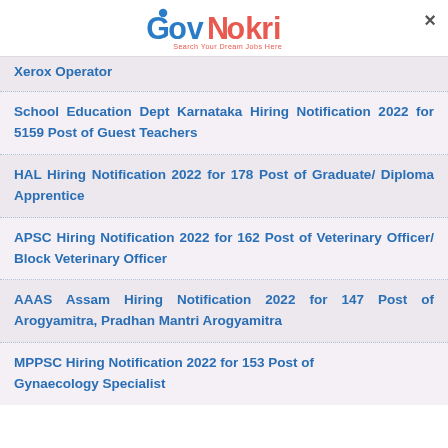GovNokri - Search Your Dream Jobs Here
Xerox Operator
School Education Dept Karnataka Hiring Notification 2022 for 5159 Post of Guest Teachers
HAL Hiring Notification 2022 for 178 Post of Graduate/ Diploma Apprentice
APSC Hiring Notification 2022 for 162 Post of Veterinary Officer/ Block Veterinary Officer
AAAS Assam Hiring Notification 2022 for 147 Post of Arogyamitra, Pradhan Mantri Arogyamitra
MPPSC Hiring Notification 2022 for 153 Post of Gynaecology Specialist